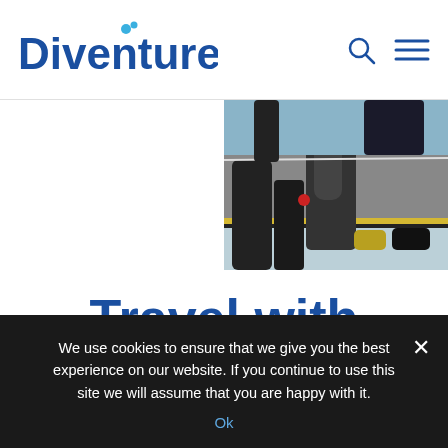Diventures
[Figure (photo): Partial photo of scuba divers with equipment near a pool edge, visible on the right half of the image strip]
Travel with Diventures
We use cookies to ensure that we give you the best experience on our website. If you continue to use this site we will assume that you are happy with it.
Ok